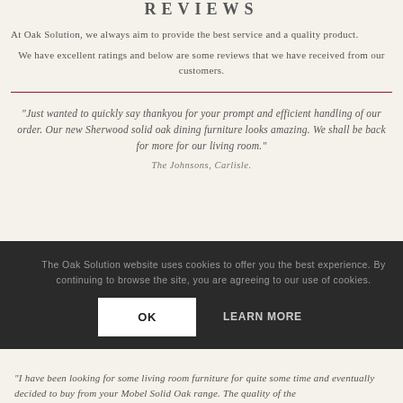REVIEWS
At Oak Solution, we always aim to provide the best service and a quality product.
We have excellent ratings and below are some reviews that we have received from our customers.
“Just wanted to quickly say thankyou for your prompt and efficient handling of our order. Our new Sherwood solid oak dining furniture looks amazing. We shall be back for more for our living room.”
The Johnsons, Carlisle.
The Oak Solution website uses cookies to offer you the best experience. By continuing to browse the site, you are agreeing to our use of cookies.
OK    LEARN MORE
“I have been looking for some living room furniture for quite some time and eventually decided to buy from your Mobel Solid Oak range. The quality of the